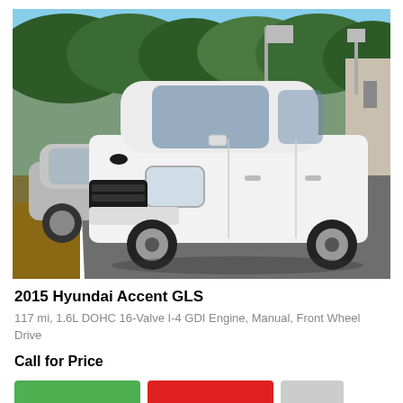[Figure (photo): White 2015 Hyundai Accent GLS sedan parked in a car dealership lot, front three-quarter view, with a gray car in the background and trees visible behind.]
2015 Hyundai Accent GLS
117 mi, 1.6L DOHC 16-Valve I-4 GDI Engine, Manual, Front Wheel Drive
Call for Price